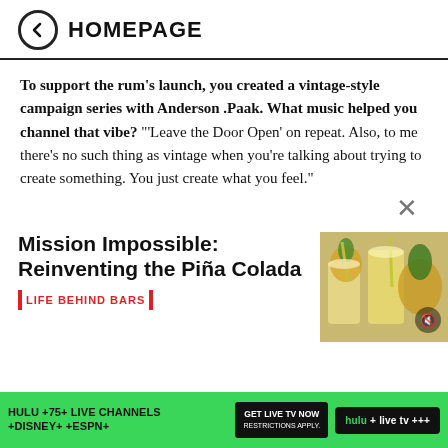HOMEPAGE
To support the rum's launch, you created a vintage-style campaign series with Anderson .Paak. What music helped you channel that vibe? "'Leave the Door Open' on repeat. Also, to me there's no such thing as vintage when you're talking about trying to create something. You just create what you feel."
Mission Impossible: Reinventing the Piña Colada
| LIFE BEHIND BARS |
[Figure (photo): Photo of two piña colada drinks in tall glasses with pineapple garnish and straws, with a whole pineapple in the background]
HULU + 75+ LIVE CHANNELS + DISNEY+ + ESPN+  GET LIVE TV NOW  Restrictions apply.  hulu + LIVE TV +++